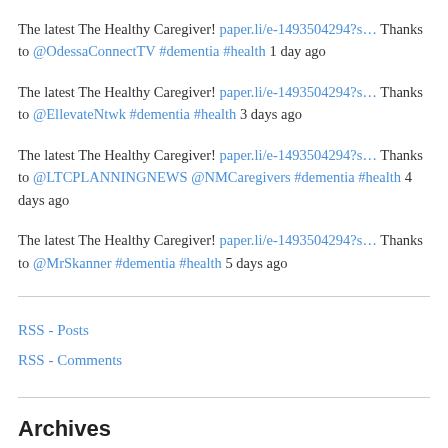The latest The Healthy Caregiver! paper.li/e-1493504294?s… Thanks to @OdessaConnectTV #dementia #health 1 day ago
The latest The Healthy Caregiver! paper.li/e-1493504294?s… Thanks to @EllevateNtwk #dementia #health 3 days ago
The latest The Healthy Caregiver! paper.li/e-1493504294?s… Thanks to @LTCPLANNINGNEWS @NMCaregivers #dementia #health 4 days ago
The latest The Healthy Caregiver! paper.li/e-1493504294?s… Thanks to @MrSkanner #dementia #health 5 days ago
RSS - Posts
RSS - Comments
Archives